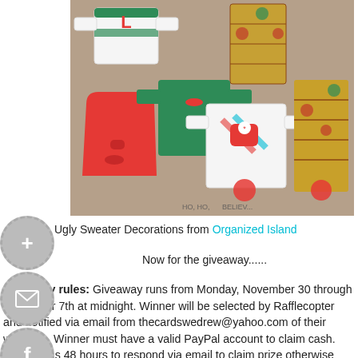[Figure (photo): Photo of handmade ugly sweater decorations in red, white, green and patterned fabrics arranged on a table.]
Ugly Sweater Decorations from Organized Island
Now for the giveaway......
Giveaway rules: Giveaway runs from Monday, November 30 through December 7th at midnight. Winner will be selected by Rafflecopter and notified via email from thecardswedrew@yahoo.com of their winnings. Winner must have a valid PayPal account to claim cash. Winner has 48 hours to respond via email to claim prize otherwise new